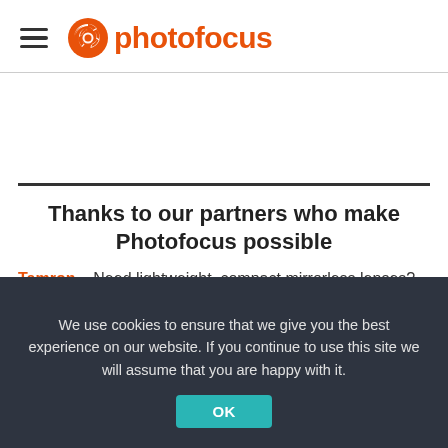photofocus
Thanks to our partners who make Photofocus possible
Tamron – Need lightweight, compact mirrorless lenses? Tamron has you covered, with superior optics perfect for any situation. With weather sealing and advanced image stabilization, you'll open
We use cookies to ensure that we give you the best experience on our website. If you continue to use this site we will assume that you are happy with it.